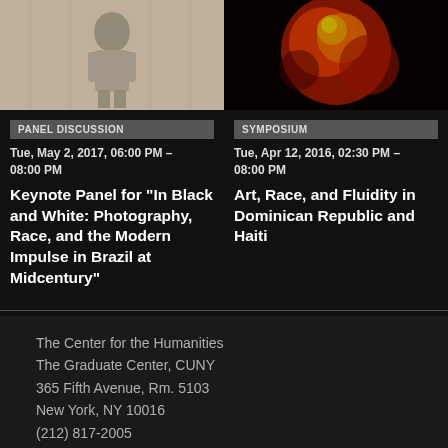[Figure (photo): Black and white photograph showing a person, likely historical image related to Brazil photography exhibition]
[Figure (photo): Colorful artwork with orange, red and yellow hues, likely related to art from Dominican Republic and Haiti]
PANEL DISCUSSION
SYMPOSIUM
Tue, May 2, 2017, 06:00 PM – 08:00 PM
Keynote Panel for "In Black and White: Photography, Race, and the Modern Impulse in Brazil at Midcentury"
Tue, Apr 12, 2016, 02:30 PM – 08:00 PM
Art, Race, and Fluidity in Dominican Republic and Haiti
The Center for the Humanities
The Graduate Center, CUNY
365 Fifth Avenue, Rm. 5103
New York, NY 10016
(212) 817-2005
ch@gc.cuny.edu